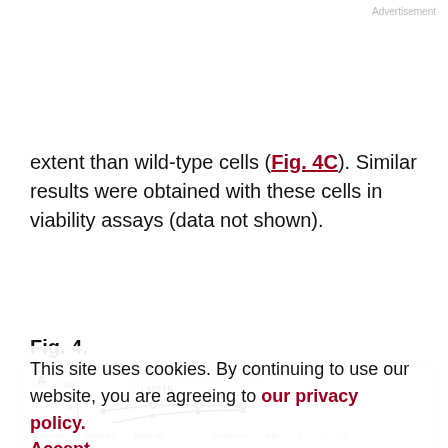Advertisement
extent than wild-type cells (Fig. 4C). Similar results were obtained with these cells in viability assays (data not shown).
Fig. 4.
[Figure (line-chart): Figure 4 panel A showing LN215 cell line data with lines plotted, y-axis showing values 20-100, partially visible chart with Bortezomib, TRAIL-R1, TRAIL-R2, P4K labels visible at bottom]
This site uses cookies. By continuing to use our website, you are agreeing to our privacy policy. Accept